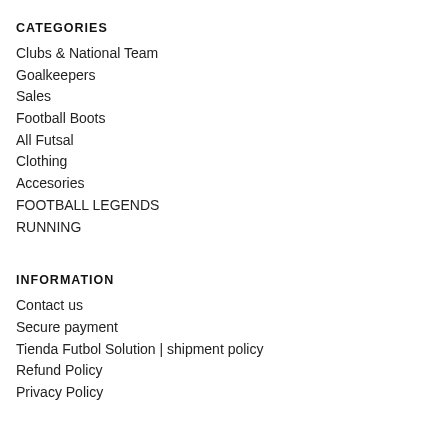CATEGORIES
Clubs & National Team
Goalkeepers
Sales
Football Boots
All Futsal
Clothing
Accesories
FOOTBALL LEGENDS
RUNNING
INFORMATION
Contact us
Secure payment
Tienda Futbol Solution | shipment policy
Refund Policy
Privacy Policy